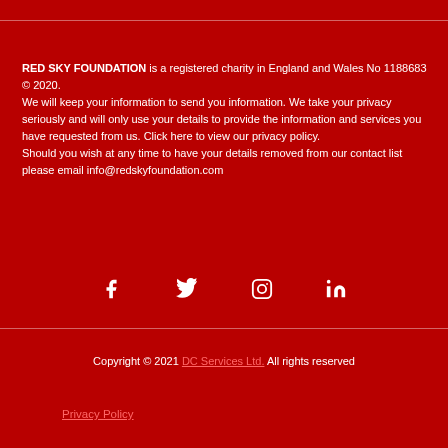RED SKY FOUNDATION is a registered charity in England and Wales No 1188683 © 2020.
We will keep your information to send you information. We take your privacy seriously and will only use your details to provide the information and services you have requested from us. Click here to view our privacy policy.
Should you wish at any time to have your details removed from our contact list please email info@redskyfoundation.com
[Figure (other): Social media icons: Facebook, Twitter, Instagram, LinkedIn]
Copyright © 2021 DC Services Ltd. All rights reserved
Privacy Policy